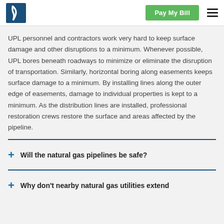UPL logo | Pay My Bill | menu
UPL personnel and contractors work very hard to keep surface damage and other disruptions to a minimum. Whenever possible, UPL bores beneath roadways to minimize or eliminate the disruption of transportation. Similarly, horizontal boring along easements keeps surface damage to a minimum. By installing lines along the outer edge of easements, damage to individual properties is kept to a minimum. As the distribution lines are installed, professional restoration crews restore the surface and areas affected by the pipeline.
Will the natural gas pipelines be safe?
Why don't nearby natural gas utilities extend